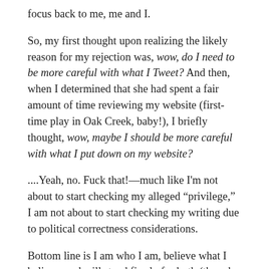focus back to me, me and I.
So, my first thought upon realizing the likely reason for my rejection was, wow, do I need to be more careful with what I Tweet? And then, when I determined that she had spent a fair amount of time reviewing my website (first-time play in Oak Creek, baby!), I briefly thought, wow, maybe I should be more careful with what I put down on my website?
....Yeah, no. Fuck that!—much like I'm not about to start checking my alleged “privilege,” I am not about to start checking my writing due to political correctness considerations.
Bottom line is I am who I am, believe what I believe, and will stand firmly for both (though always willing to question and debate aforementioned beliefs). And these days, with the country so significantly divided on so many different issues, it doesn’t matter where one